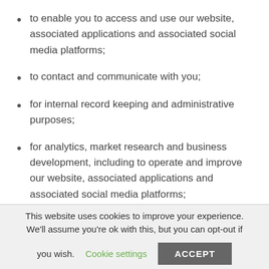to enable you to access and use our website, associated applications and associated social media platforms;
to contact and communicate with you;
for internal record keeping and administrative purposes;
for analytics, market research and business development, including to operate and improve our website, associated applications and associated social media platforms;
This website uses cookies to improve your experience. We'll assume you're ok with this, but you can opt-out if you wish. Cookie settings ACCEPT